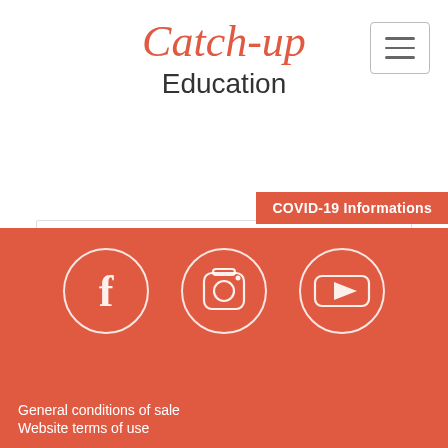Catch-up Education
[Figure (screenshot): Hamburger menu button (three horizontal lines) in a bordered rectangle, top right corner]
[Figure (infographic): COVID-19 Informations red banner overlay]
Subscribe to our newletter, and you will receive our last news.
Subscribe!
[Figure (infographic): Social media icons: Facebook, Instagram, YouTube in white circles on red footer background]
General conditions of sale
Website terms of use